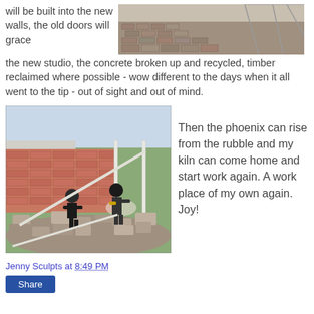will be built into the new walls, the old doors will grace the new studio, the concrete broken up and recycled, timber reclaimed where possible - wow different to the days when it all went to the tip - out of sight and out of mind.
[Figure (photo): Outdoor construction/demolition site with bricks and rubble, viewed from above, with grid-like structure visible]
[Figure (photo): Two workers standing on a large pile of demolition rubble and bricks next to a brick wall with white metal framing, with a tree visible in the background]
Then the phoenix can rise from the rubble and my kiln can come home and start work again. A work place of my own again. Joy!
Jenny Sculpts at 8:49 PM
Share